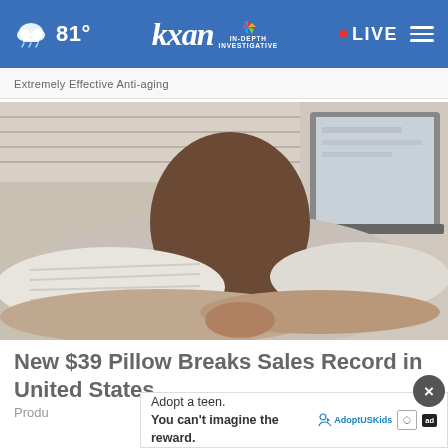81° kxan IN-DEPTH INVESTIGATIVE • LIVE
Extremely Effective Anti-aging
[Figure (photo): Person sleeping face-down on a specialty pillow with a laptop visible in the background]
New $39 Pillow Breaks Sales Record in United States
Produ
Adopt a teen. You can't imagine the reward.